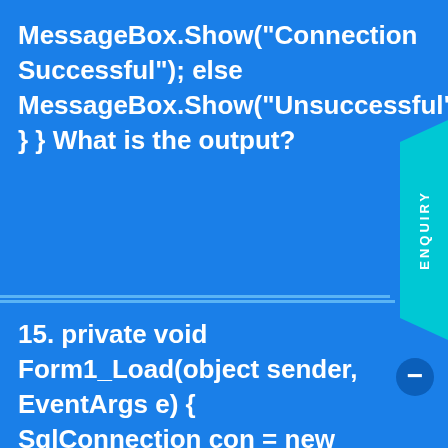MessageBox.Show("Connection Successful"); else MessageBox.Show("Unsuccessful"); } } What is the output?
15. private void Form1_Load(object sender, EventArgs e) { SqlConnection con = new SqlConnection(); using (con) { con.ConnectionString = @"Data Source =server;Initial Catalog = pubs;user Id=sa;password=password"; con.Open(); MessageBox.Show(con.State.ToString()); } MessageBox.Show(con.State.ToString()); } What is the output?